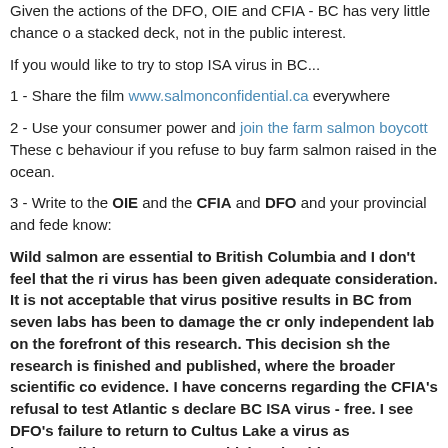Given the actions of the DFO, OIE and CFIA - BC has very little chance of a stacked deck, not in the public interest.
If you would like to try to stop ISA virus in BC...
1 - Share the film www.salmonconfidential.ca everywhere
2 - Use your consumer power and join the farm salmon boycott These behaviour if you refuse to buy farm salmon raised in the ocean.
3 - Write to the OIE and the CFIA and DFO and your provincial and federal know:
Wild salmon are essential to British Columbia and I don't feel that the risk virus has been given adequate consideration. It is not acceptable that virus positive results in BC from seven labs has been to damage the cr only independent lab on the forefront of this research. This decision sh the research is finished and published, where the broader scientific co evidence. I have concerns regarding the CFIA's refusal to test Atlantic s declare BC ISA virus - free. I see DFO's failure to return to Cultus Lake a virus as irresponsible management. British Columbians are not pleased Fisheries and Oceans Canada, DFO, and the decline in wild salmon. We entering the food chain, threatening the ecology, economy and food se
3 - Donate to help keep this work independent and ongoing http://www.gofundme.com/FishFeedlotsOut